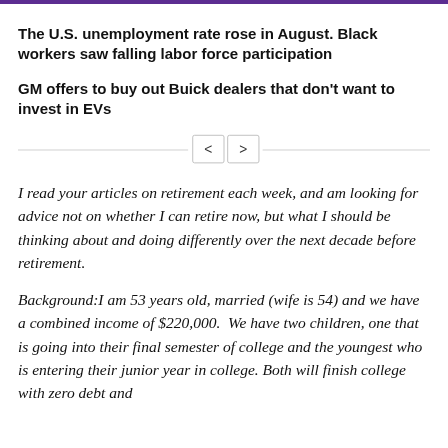The U.S. unemployment rate rose in August. Black workers saw falling labor force participation
GM offers to buy out Buick dealers that don't want to invest in EVs
I read your articles on retirement each week, and am looking for advice not on whether I can retire now, but what I should be thinking about and doing differently over the next decade before retirement.
Background:I am 53 years old, married (wife is 54) and we have a combined income of $220,000.  We have two children, one that is going into their final semester of college and the youngest who is entering their junior year in college. Both will finish college with zero debt and